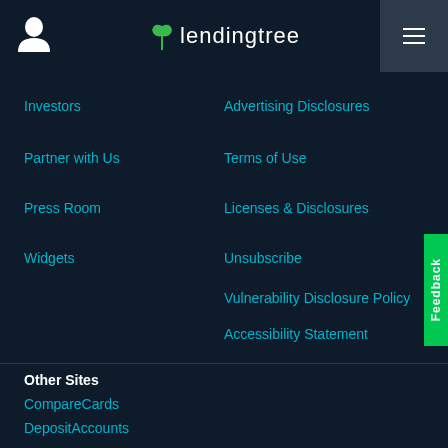LendingTree navigation header with user icon, logo, and hamburger menu
Investors
Advertising Disclosures
Partner with Us
Terms of Use
Press Room
Licenses & Disclosures
Widgets
Unsubscribe
Vulnerability Disclosure Policy
Accessibility Statement
Other Sites
CompareCards
DepositAccounts
MagnifyMoney
Ovation Credit
QuoteWizard
SimpleTuition